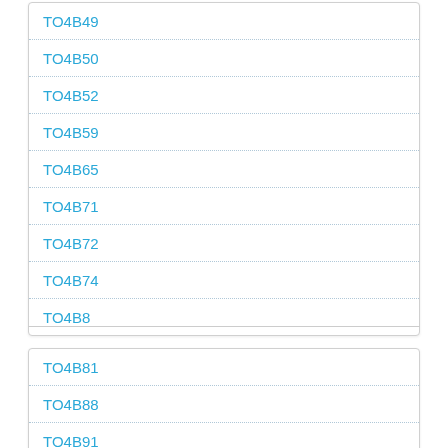TO4B49
TO4B50
TO4B52
TO4B59
TO4B65
TO4B71
TO4B72
TO4B74
TO4B8
TO4B81
TO4B88
TO4B91
TO4B94